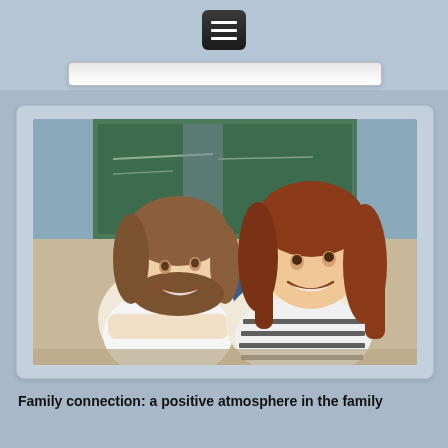[Figure (screenshot): Mobile website screenshot showing a hamburger menu button at the top center, a search/navigation bar below it, and a photo of two smiling girls in a classroom setting turning around from their desks in front of a green chalkboard.]
Family connection: a positive atmosphere in the family